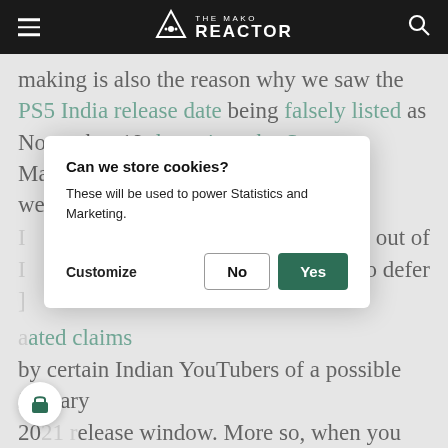THE MAKO REACTOR
making is also the reason why we saw the PS5 India release date being falsely listed as November 19 three times by Sony. Management of the PlayStation India website isn't even handled in [India, with the local office outsourced, making out of [the loop when it comes to decisions. There's also reason] to defer [to unsubstantiated claims] [unauthenticated] claims by certain Indian YouTubers of a possible January 2021 release window. More so, when you consider Sony's official statement on the matter.
Can we store cookies?
These will be used to power Statistics and Marketing.
Customize   No   Yes